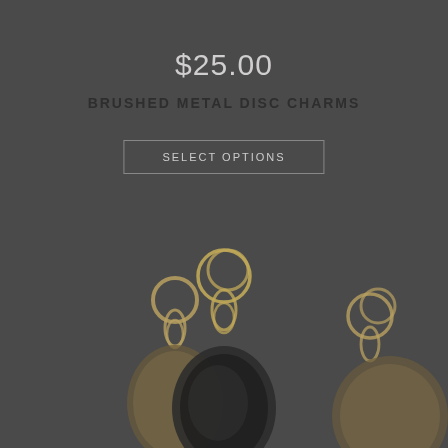$25.00
BRUSHED METAL DISC CHARMS
SELECT OPTIONS
[Figure (photo): Photo of three brushed metal disc charms with wire-wrapped tops and loop rings, partially cropped at the bottom of the image on a dark grey background.]